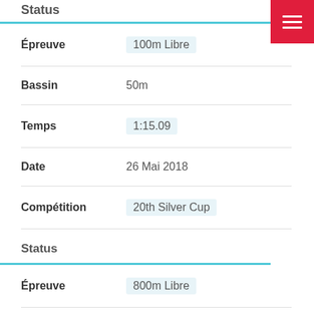Status
Épreuve: 100m Libre
Bassin: 50m
Temps: 1:15.09
Date: 26 Mai 2018
Compétition: 20th Silver Cup
Status
Épreuve: 800m Libre
Bassin: 25m